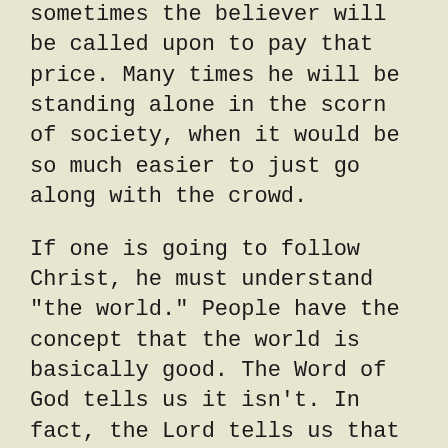sometimes the believer will be called upon to pay that price. Many times he will be standing alone in the scorn of society, when it would be so much easier to just go along with the crowd.
If one is going to follow Christ, he must understand "the world." People have the concept that the world is basically good. The Word of God tells us it isn't. In fact, the Lord tells us that it's steeped in evil.
"We know that we are of God, AND THE WHOLE WORLD LIES IN WICKEDNESS."
1 John 5:19
Most, innately, want everyone to just get along. People want tolerance, just do